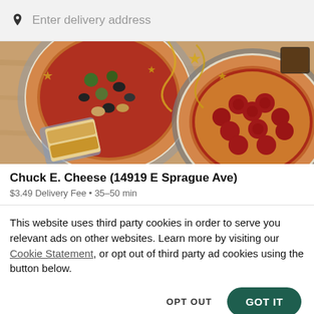Enter delivery address
[Figure (photo): Top-down view of pizzas on silver pans with golden star confetti and streamers on a wooden table background, plus garlic bread slices]
Chuck E. Cheese (14919 E Sprague Ave)
$3.49 Delivery Fee • 35–50 min
This website uses third party cookies in order to serve you relevant ads on other websites. Learn more by visiting our Cookie Statement, or opt out of third party ad cookies using the button below.
OPT OUT
GOT IT